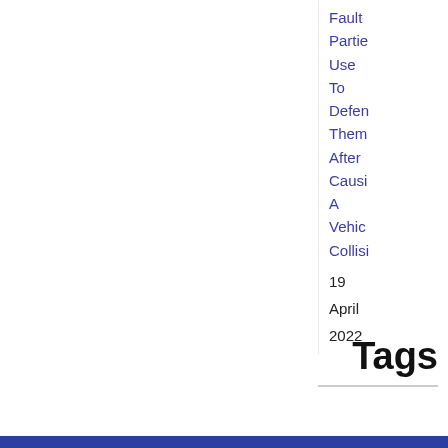Fault Parties Use To Defend Them After Causing A Vehicle Collision
19 April 2022
Tags